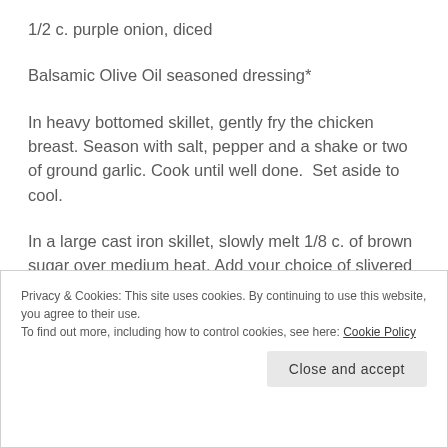1/2 c. purple onion, diced
Balsamic Olive Oil seasoned dressing*
In heavy bottomed skillet, gently fry the chicken breast. Season with salt, pepper and a shake or two of ground garlic. Cook until well done.  Set aside to cool.
In a large cast iron skillet, slowly melt 1/8 c. of brown sugar over medium heat. Add your choice of slivered almonds or pecans. Coat the nuts with
Privacy & Cookies: This site uses cookies. By continuing to use this website, you agree to their use.
To find out more, including how to control cookies, see here: Cookie Policy
Close and accept